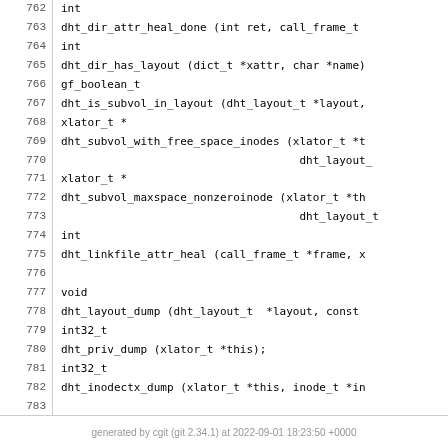762 int
763 dht_dir_attr_heal_done (int ret, call_frame_t
764 int
765 dht_dir_has_layout (dict_t *xattr, char *name)
766 gf_boolean_t
767 dht_is_subvol_in_layout (dht_layout_t *layout,
768 xlator_t *
769 dht_subvol_with_free_space_inodes (xlator_t *t
770                                         dht_layout_
771 xlator_t *
772 dht_subvol_maxspace_nonzeroinode (xlator_t *th
773                                         dht_layout_t
774 int
775 dht_linkfile_attr_heal (call_frame_t *frame, x
776
777 void
778 dht_layout_dump (dht_layout_t  *layout, const
779 int32_t
780 dht_priv_dump (xlator_t *this);
781 int32_t
782 dht_inodectx_dump (xlator_t *this, inode_t *in
783
784 int
785 dht_inode_ctx_get1 (xlator_t *this, inode_t *i
786
787 #endif/* _DHT_H */
generated by cgit (git 2.34.1) at 2022-09-01 18:23:50 +0000